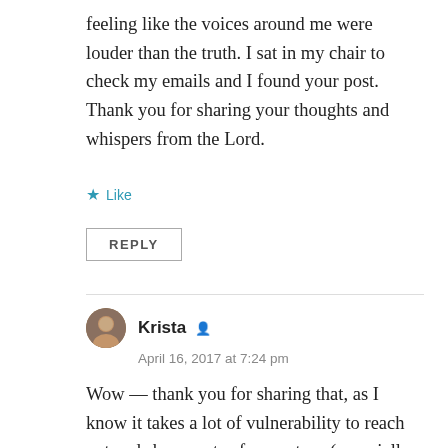feeling like the voices around me were louder than the truth. I sat in my chair to check my emails and I found your post. Thank you for sharing your thoughts and whispers from the Lord.
Like
REPLY
Krista
April 16, 2017 at 7:24 pm
Wow — thank you for sharing that, as I know it takes a lot of vulnerability to reach out and share parts of your story (especially the hurtful parts) So glad god answered your heart's cry and encouraged you through my post. Praying for your mother, and praying for you as you step out in